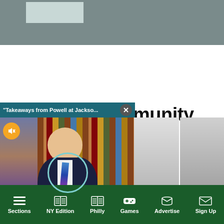[Figure (screenshot): Top gray banner area with lighter rectangle placeholder]
munity
[Figure (screenshot): Embedded video player showing David Westin on Wall Street week, with title bar 'Takeaways from Powell at Jackso...', mute button, circle ring overlay, lower third with WALL STREET logo and DAVID WESTIN name]
[Figure (screenshot): Right side article card thumbnails - partial gray images with text 'Chiefs b...' and 'during']
ara
gets religion in 'Padre Dio'
Chiefs b
during
Sections  NY Edition  Philly  Games  Advertise  Sign Up